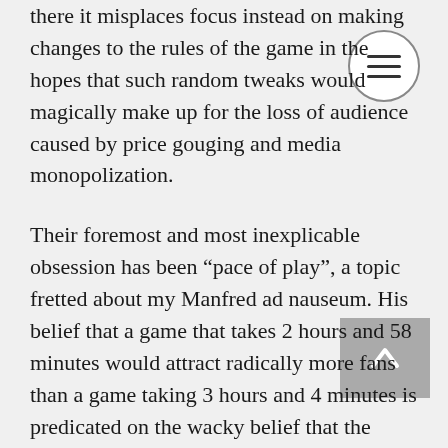there it misplaces focus instead on making changes to the rules of the game in the hopes that such random tweaks would magically make up for the loss of audience caused by price gouging and media monopolization.
Their foremost and most inexplicable obsession has been “pace of play”, a topic fretted about my Manfred ad nauseum. His belief that a game that takes 2 hours and 58 minutes would attract radically more fans than a game taking 3 hours and 4 minutes is predicated on the wacky belief that the primary reason baseball is losing fan interest is that games are too long, a sentiment almost never bolstered by polling data. Due to what appears to be a galling misunderstanding of the strengths and weaknesses of the sport and more of f...